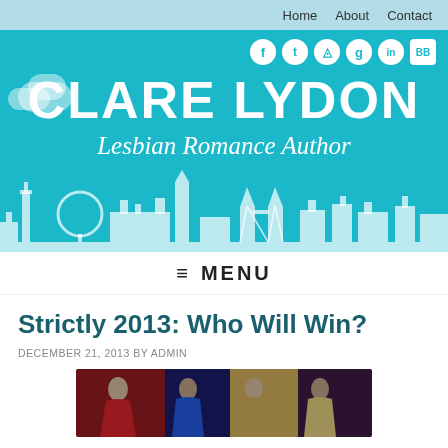Home   About   Contact
[Figure (screenshot): Clare Lydon website banner: teal background with white London skyline silhouette, social media icons (Facebook, Twitter, Instagram, Google, YouTube, BookBub), large white text CLARE LYDON, italic subtitle Lesbian Romance Author, and cloud shapes]
≡ MENU
Strictly 2013: Who Will Win?
DECEMBER 21, 2013 BY ADMIN
[Figure (photo): Four women in formal/dance dresses standing together: one in red, one in blue, two in gold/champagne, against a dark curtained background]